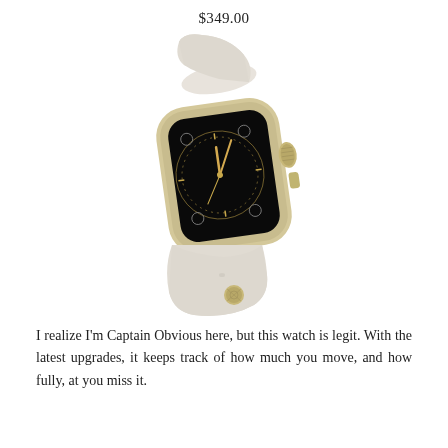$349.00
[Figure (photo): Apple Watch Sport with gold aluminum case and white/antique white sport band, shown at an angle with a dark analog watch face displaying clock hands and hour markers.]
I realize I'm Captain Obvious here, but this watch is legit. With the latest upgrades, it keeps track of how much you move, and how fully, at you miss it.